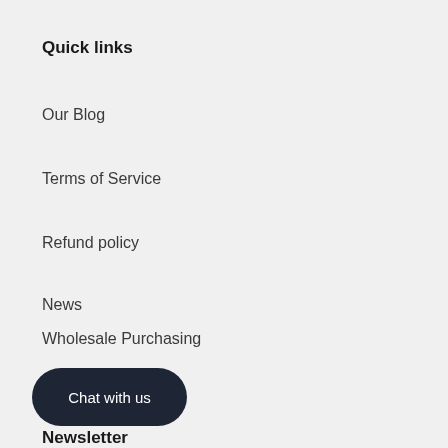Quick links
Our Blog
Terms of Service
Refund policy
News
Wholesale Purchasing
Author Book Order
Chat with us
Newsletter